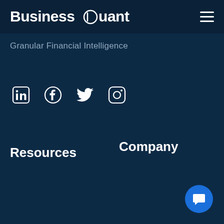Business Quant
Granular Financial Intelligence
[Figure (infographic): Social media icons: LinkedIn, Facebook, Twitter, Instagram — white icons on dark navy background]
Resources
Company
[Figure (other): Blue circular chat/message button in bottom right corner]